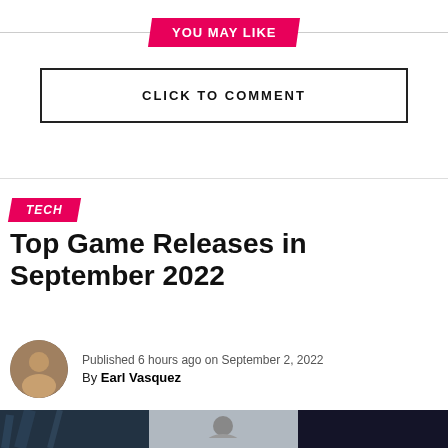YOU MAY LIKE
CLICK TO COMMENT
TECH
Top Game Releases in September 2022
Published 6 hours ago on September 2, 2022
By Earl Vasquez
[Figure (photo): Three-panel image strip showing game screenshots]